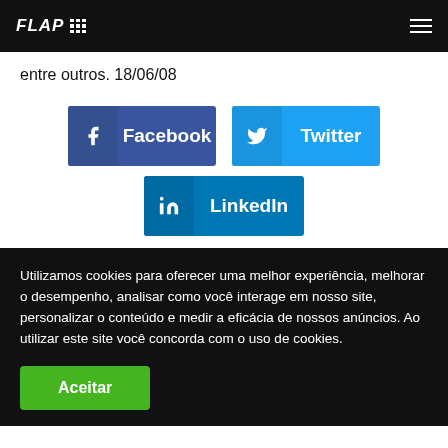FLAP [navigation menu]
entre outros. 18/06/08
[Figure (infographic): Social share buttons: Facebook (dark blue), Twitter (light blue), LinkedIn (medium blue)]
Utilizamos cookies para oferecer uma melhor experiência, melhorar o desempenho, analisar como você interage em nosso site, personalizar o conteúdo e medir a eficácia de nossos anúncios. Ao utilizar este site você concorda com o uso de cookies.
Aceitar